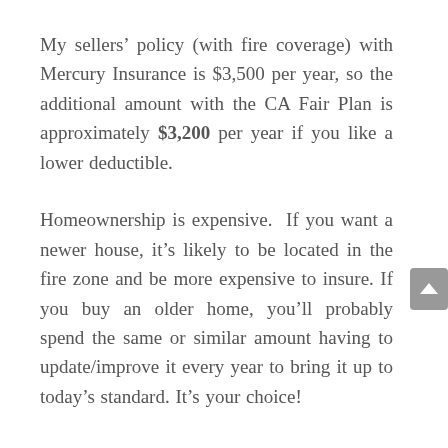My sellers' policy (with fire coverage) with Mercury Insurance is $3,500 per year, so the additional amount with the CA Fair Plan is approximately $3,200 per year if you like a lower deductible.
Homeownership is expensive.  If you want a newer house, it's likely to be located in the fire zone and be more expensive to insure. If you buy an older home, you'll probably spend the same or similar amount having to update/improve it every year to bring it up to today's standard. It's your choice!